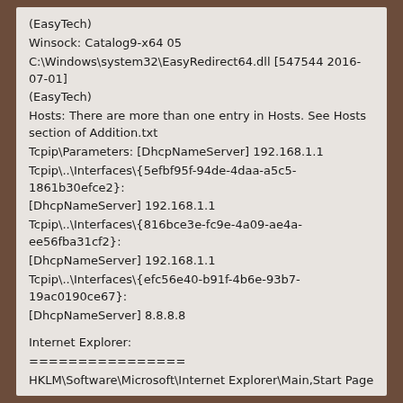(EasyTech)
Winsock: Catalog9-x64 05 C:\Windows\system32\EasyRedirect64.dll [547544 2016-07-01] (EasyTech)
Hosts: There are more than one entry in Hosts. See Hosts section of Addition.txt
Tcpip\Parameters: [DhcpNameServer] 192.168.1.1
Tcpip\..\Interfaces\{5efbf95f-94de-4daa-a5c5-1861b30efce2}: [DhcpNameServer] 192.168.1.1
Tcpip\..\Interfaces\{816bce3e-fc9e-4a09-ae4a-ee56fba31cf2}: [DhcpNameServer] 192.168.1.1
Tcpip\..\Interfaces\{efc56e40-b91f-4b6e-93b7-19ac0190ce67}: [DhcpNameServer] 8.8.8.8
Internet Explorer:
================
HKLM\Software\Microsoft\Internet Explorer\Main,Start Page = hxxps://us.search.yahoo.com/yhs/web?hsp ... 2B10%2BPro
HKU\S-1-5-21-3054831734-3423443630-68311492-1001\Software\Microsoft\Internet Explorer\Main,Search Page = hxxps://%66%65%65%64.%73%6F%6E%69%63-%7 ... gc9kg,,&q={searchTerms}
HKU\S-1-5-21-3054831734-3423443630-68311492-